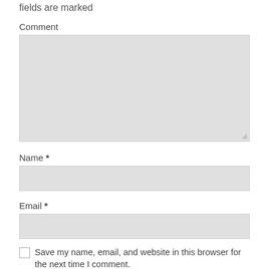fields are marked
Comment
[Figure (other): Large textarea input field with resize handle]
Name *
[Figure (other): Single-line text input field for Name]
Email *
[Figure (other): Single-line text input field for Email]
Save my name, email, and website in this browser for the next time I comment.
Post Comment